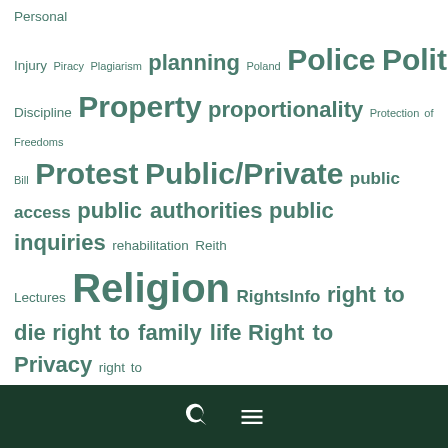Personal Injury Piracy Plagiarism planning Poland Police Politics pollution press Prisoners Prisons privacy Professional Discipline Property proportionality Protection of Freedoms Bill Protest Public/Private public access public authorities public inquiries rehabilitation Reith Lectures Religion RightsInfo right to die right to family life Right to Privacy right to swim riots Roma Romania Round Up Royals Russia Saudi Arabia Scotland secrecy secret justice sexual offence Sikhism Smoking social media South Africa Spain special advocates Sports Standing statelessness stop and search Strasbourg Supreme Court Supreme Court of Canada
Search Menu